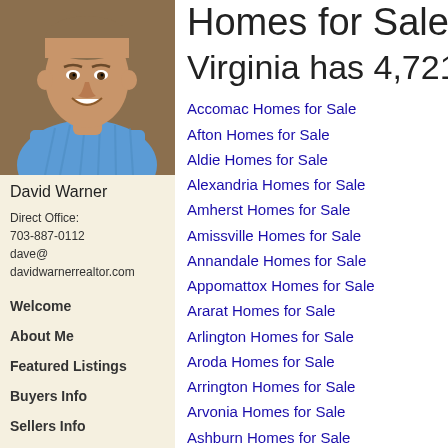[Figure (photo): Headshot of David Warner, a smiling man in a blue striped shirt]
David Warner
Direct Office:
703-887-0112
dave@
davidwarnerrealtor.com
Welcome
About Me
Featured Listings
Buyers Info
Sellers Info
Owning Your Home
Homes for Sale
Virginia has 4,721 H
Accomac Homes for Sale
Afton Homes for Sale
Aldie Homes for Sale
Alexandria Homes for Sale
Amherst Homes for Sale
Amissville Homes for Sale
Annandale Homes for Sale
Appomattox Homes for Sale
Ararat Homes for Sale
Arlington Homes for Sale
Aroda Homes for Sale
Arrington Homes for Sale
Arvonia Homes for Sale
Ashburn Homes for Sale
Ashland Homes for Sale
Atlantic Homes for Sale
Aylett Homes for Sale
Barboursville Homes for Sale
Basye Homes for Sale